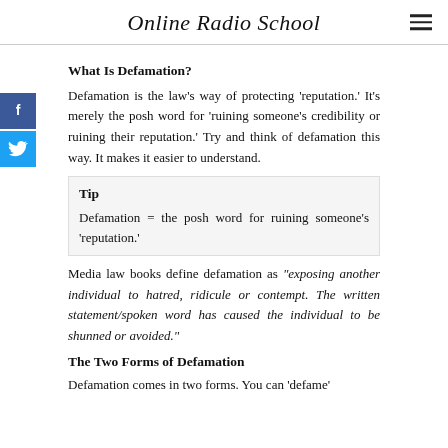Online Radio School
What Is Defamation?
Defamation is the law's way of protecting 'reputation.' It's merely the posh word for 'ruining someone's credibility or ruining their reputation.' Try and think of defamation this way. It makes it easier to understand.
Tip
Defamation = the posh word for ruining someone's 'reputation.'
Media law books define defamation as "exposing another individual to hatred, ridicule or contempt. The written statement/spoken word has caused the individual to be shunned or avoided."
The Two Forms of Defamation
Defamation comes in two forms. You can 'defame'